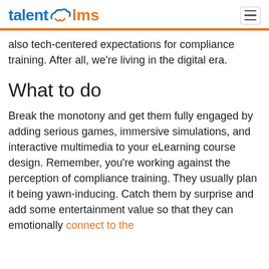talentlms
also tech-centered expectations for compliance training. After all, we're living in the digital era.
What to do
Break the monotony and get them fully engaged by adding serious games, immersive simulations, and interactive multimedia to your eLearning course design. Remember, you're working against the perception of compliance training. They usually plan it being yawn-inducing. Catch them by surprise and add some entertainment value so that they can emotionally connect to the